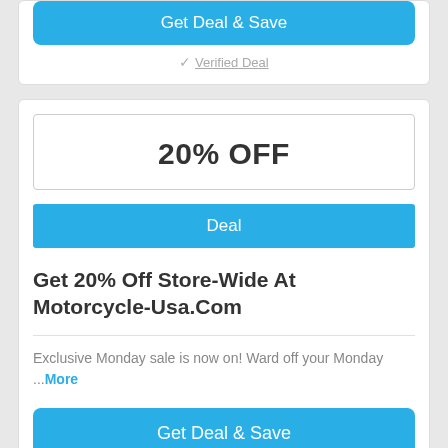[Figure (screenshot): Top blue button partially visible at top reading 'Get Deal & Save']
✓ Verified Deal
20% OFF
Deal
Get 20% Off Store-Wide At Motorcycle-Usa.Com
Exclusive Monday sale is now on! Ward off your Monday ...More
Get Deal & Save